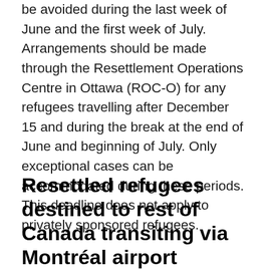be avoided during the last week of June and the first week of July. Arrangements should be made through the Resettlement Operations Centre in Ottawa (ROC-O) for any refugees travelling after December 15 and during the break at the end of June and beginning of July. Only exceptional cases can be accommodated during these periods. This deadline does not apply to privately sponsored refugees.
Resettled refugees destined to rest of Canada transiting via Montréal airport